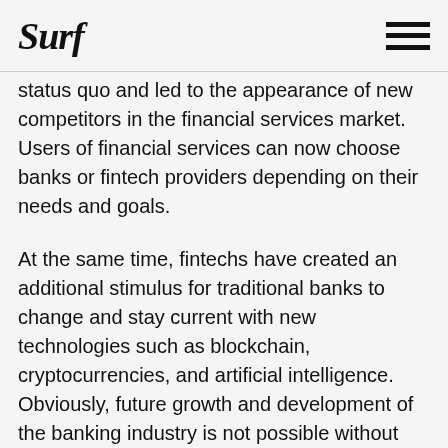Surf
status quo and led to the appearance of new competitors in the financial services market. Users of financial services can now choose banks or fintech providers depending on their needs and goals.
At the same time, fintechs have created an additional stimulus for traditional banks to change and stay current with new technologies such as blockchain, cryptocurrencies, and artificial intelligence. Obviously, future growth and development of the banking industry is not possible without the integration of fintech technologies in traditional business lines and mutually beneficial partnerships between banks and fintechs.